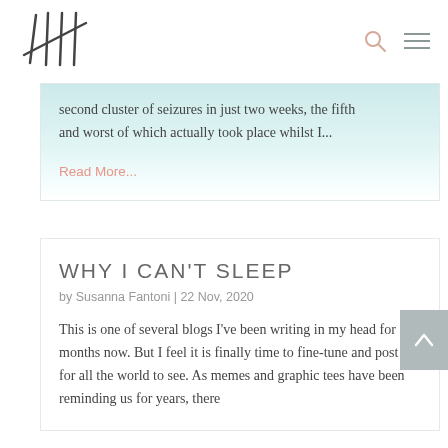[Figure (logo): Tally mark style logo made of diagonal lines forming a freehand drawn hash mark pattern]
second cluster of seizures in just two weeks, the fifth and worst of which actually took place whilst I...
Read More...
WHY I CAN'T SLEEP
by Susanna Fantoni | 22 Nov, 2020
This is one of several blogs I've been writing in my head for months now. But I feel it is finally time to fine-tune and post it for all the world to see. As memes and graphic tees have been reminding us for years, there